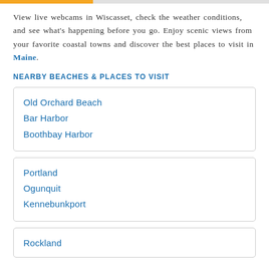View live webcams in Wiscasset, check the weather conditions, and see what's happening before you go. Enjoy scenic views from your favorite coastal towns and discover the best places to visit in Maine.
NEARBY BEACHES & PLACES TO VISIT
Old Orchard Beach
Bar Harbor
Boothbay Harbor
Portland
Ogunquit
Kennebunkport
Rockland